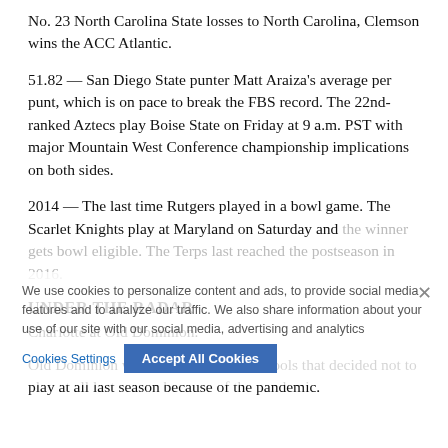No. 23 North Carolina State losses to North Carolina, Clemson wins the ACC Atlantic.
51.82 — San Diego State punter Matt Araiza's average per punt, which is on pace to break the FBS record. The 22nd-ranked Aztecs play Boise State on Friday at 9 a.m. PST with major Mountain West Conference championship implications on both sides.
2014 — The last time Rutgers played in a bowl game. The Scarlet Knights play at Maryland on Saturday and the winner gets bowl eligible. The Terps last reached the postseason in 2016.
UNDER THE RADAR
Charlotte at Old Dominion.
Old Dominion was one of two FBS schools that decided not to play at all last season because of the pandemic.